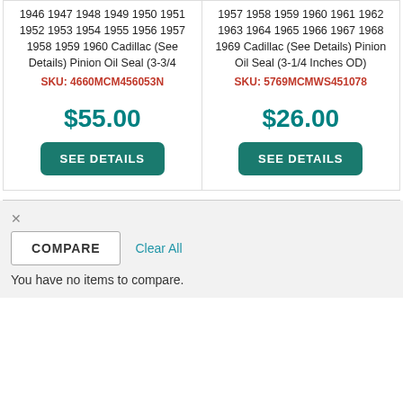1946 1947 1948 1949 1950 1951 1952 1953 1954 1955 1956 1957 1958 1959 1960 Cadillac (See Details) Pinion Oil Seal (3-3/4
SKU: 4660MCM456053N
$55.00
SEE DETAILS
1957 1958 1959 1960 1961 1962 1963 1964 1965 1966 1967 1968 1969 Cadillac (See Details) Pinion Oil Seal (3-1/4 Inches OD)
SKU: 5769MCMWS451078
$26.00
SEE DETAILS
COMPARE
Clear All
You have no items to compare.